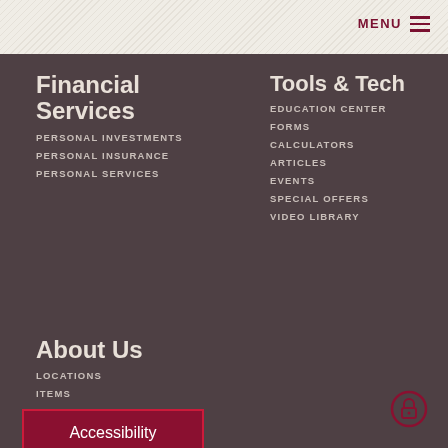MENU
Financial Services
PERSONAL INVESTMENTS
PERSONAL INSURANCE
PERSONAL SERVICES
Tools & Tech
EDUCATION CENTER
FORMS
CALCULATORS
ARTICLES
EVENTS
SPECIAL OFFERS
VIDEO LIBRARY
About Us
LOCATIONS
ITEMS
Accessibility
LNB BANCORP